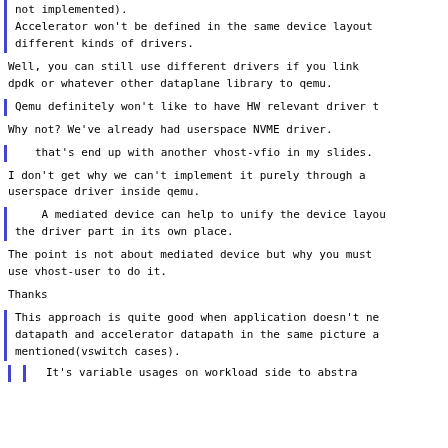not implemented).
Accelerator won't be defined in the same device layout
different kinds of drivers.
Well, you can still use different drivers if you link
dpdk or whatever other dataplane library to qemu.
Qemu definitely won't like to have HW relevant driver t
Why not? We've already had userspace NVME driver.
that's end up with another vhost-vfio in my slides.
I don't get why we can't implement it purely through a
userspace driver inside qemu.
A mediated device can help to unify the device layou
the driver part in its own place.
The point is not about mediated device but why you must
use vhost-user to do it.
Thanks
This approach is quite good when application doesn't ne
datapath and accelerator datapath in the same picture a
mentioned(vswitch cases).
It's variable usages on workload side to abstra